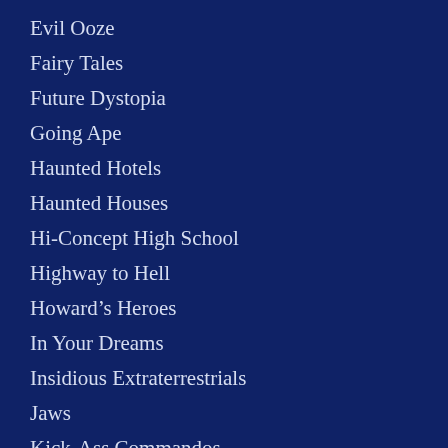Evil Ooze
Fairy Tales
Future Dystopia
Going Ape
Haunted Hotels
Haunted Houses
Hi-Concept High School
Highway to Hell
Howard's Heroes
In Your Dreams
Insidious Extraterrestrials
Jaws
Kick-Ass Commandos